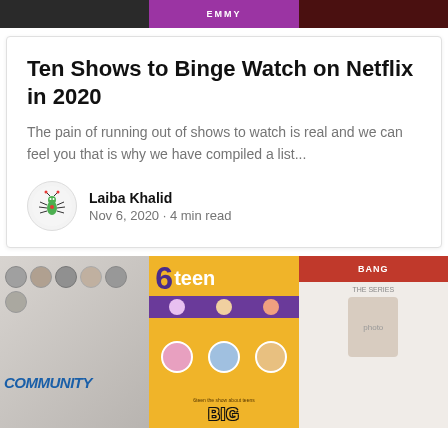[Figure (photo): Top strip image showing three TV show thumbnails side by side — dark show on left, purple/Emmy-themed in center, dark red on right]
Ten Shows to Binge Watch on Netflix in 2020
The pain of running out of shows to watch is real and we can feel you that is why we have compiled a list...
Laiba Khalid
Nov 6, 2020 · 4 min read
[Figure (photo): Bottom collage image with three TV show posters: Community (left), 6teen (center, yellow/purple), Big Bang Theory (right)]